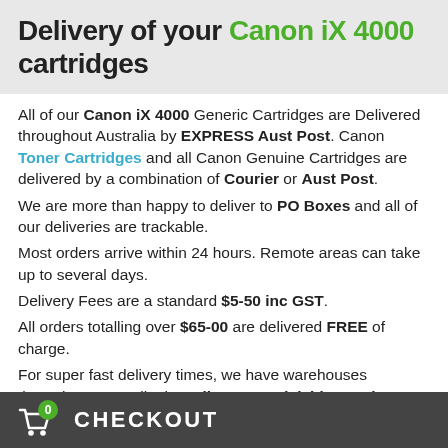Delivery of your Canon iX 4000 cartridges
All of our Canon iX 4000 Generic Cartridges are Delivered throughout Australia by EXPRESS Aust Post. Canon Toner Cartridges and all Canon Genuine Cartridges are delivered by a combination of Courier or Aust Post.
We are more than happy to deliver to PO Boxes and all of our deliveries are trackable.
Most orders arrive within 24 hours. Remote areas can take up to several days.
Delivery Fees are a standard $5-50 inc GST.
All orders totalling over $65-00 are delivered FREE of charge.
For super fast delivery times, we have warehouses throughout Australia, in Melbourne, Adelaide, Perth, Brisbane and Sydney.
0 CHECKOUT